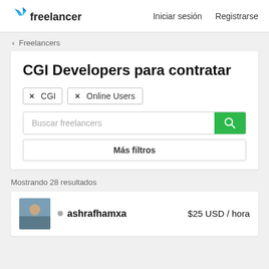freelancer  Iniciar sesión  Registrarse
‹ Freelancers
CGI Developers para contratar
× CGI
× Online Users
Buscar freelancers
Más filtros
Mostrando 28 resultados
ashrafhamxa  $25 USD / hora